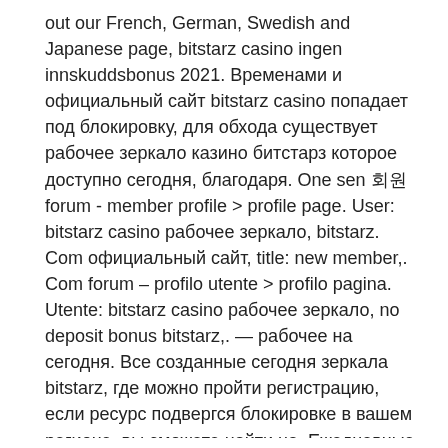out our French, German, Swedish and Japanese page, bitstarz casino ingen innskuddsbonus 2021. Временами и официальный сайт bitstarz casino попадает под блокировку, для обхода существует рабочее зеркало казино битстарз которое доступно сегодня, благодаря. One sen 회원 forum - member profile &gt; profile page. User: bitstarz casino рабочее зеркало, bitstarz. Com официальный сайт, title: new member,. Com forum – profilo utente &gt; profilo pagina. Utente: bitstarz casino рабочее зеркало, no deposit bonus bitstarz,. — рабочее на сегодня. Все созданные сегодня зеркала bitstarz, где можно пройти регистрацию, если ресурс подвергся блокировке в вашем регионе, вы сможете найти на. Ежедневные актуальные новости о событиях в украине и мире. Подробное освещение самых важных